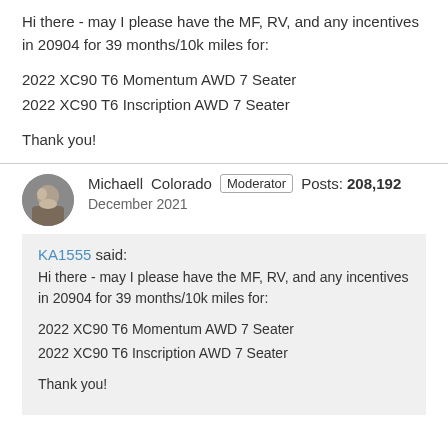Hi there - may I please have the MF, RV, and any incentives in 20904 for 39 months/10k miles for:
2022 XC90 T6 Momentum AWD 7 Seater
2022 XC90 T6 Inscription AWD 7 Seater
Thank you!
Michaell  Colorado  Moderator  Posts: 208,192
December 2021
KA1555 said:
Hi there - may I please have the MF, RV, and any incentives in 20904 for 39 months/10k miles for:

2022 XC90 T6 Momentum AWD 7 Seater
2022 XC90 T6 Inscription AWD 7 Seater

Thank you!